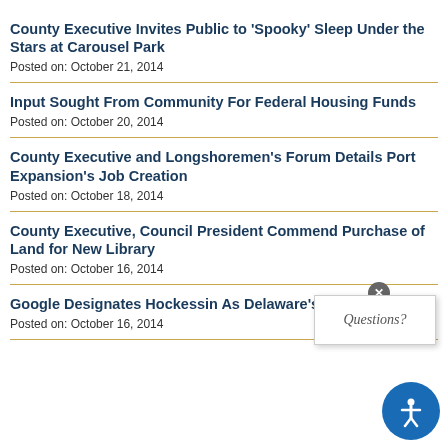County Executive Invites Public to ‘Spooky’ Sleep Under the Stars at Carousel Park
Posted on: October 21, 2014
Input Sought From Community For Federal Housing Funds
Posted on: October 20, 2014
County Executive and Longshoremen’s Forum Details Port Expansion’s Job Creation
Posted on: October 18, 2014
County Executive, Council President Commend Purchase of Land for New Library
Posted on: October 16, 2014
Google Designates Hockessin As Delaware’s 2014 eCity
Posted on: October 16, 2014